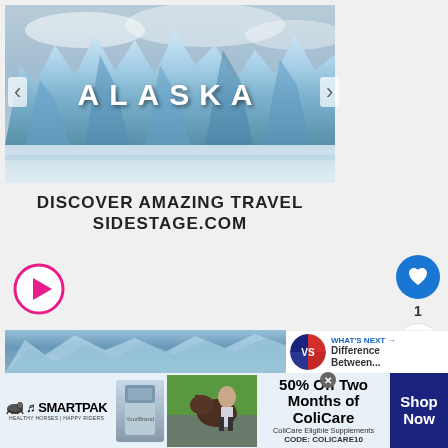[Figure (photo): Glacier or ice formation photo with text 'ALASKA' overlaid in white bold letters, showing blue ice spires against cloudy sky]
DISCOVER AMAZING TRAVEL SIDESTAGE.COM
[Figure (illustration): Pink/magenta outlined play button circle indicating video]
[Figure (photo): Thumbnail strip showing glacier/ice formation, partially visible]
[Figure (infographic): Side panel with blue heart/like button showing count of 1, and share button]
[Figure (infographic): What's Next panel with VS circle graphic and text 'Difference Between...']
[Figure (infographic): SmartPak advertisement banner: 50% Off Two Months of ColiCare, ColiCare Eligible Supplements, CODE: COLICARE10, Shop Now button]